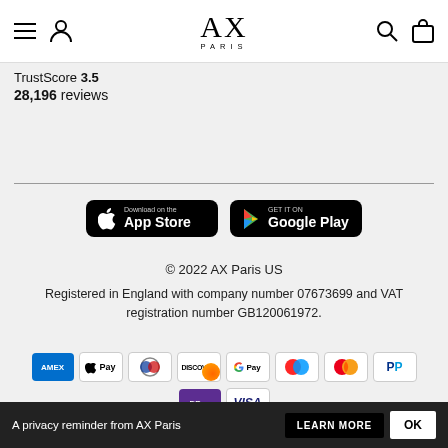[Figure (screenshot): AX Paris website header with hamburger menu, user icon, AX Paris logo, search icon, and bag icon]
TrustScore 3.5
28,196 reviews
[Figure (infographic): Download on the App Store and Get it on Google Play buttons]
© 2022 AX Paris US
Registered in England with company number 07673699 and VAT registration number GB120061972.
[Figure (infographic): Payment method icons: American Express, Apple Pay, Diners Club, Discover, Google Pay, Maestro, Mastercard, PayPal, DPay, Visa]
A privacy reminder from AX Paris   LEARN MORE   OK